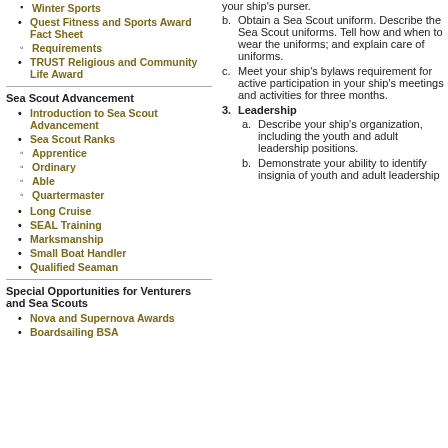Winter Sports
Quest Fitness and Sports Award Fact Sheet
Requirements
TRUST Religious and Community Life Award
Sea Scout Advancement
Introduction to Sea Scout Advancement
Sea Scout Ranks
Apprentice
Ordinary
Able
Quartermaster
Long Cruise
SEAL Training
Marksmanship
Small Boat Handler
Qualified Seaman
Special Opportunities for Venturers and Sea Scouts
Nova and Supernova Awards
Boardsailing BSA
your ship's purser.
b. Obtain a Sea Scout uniform. Describe the Sea Scout uniforms. Tell how and when to wear the uniforms; and explain care of uniforms.
c. Meet your ship's bylaws requirement for active participation in your ship's meetings and activities for three months.
3. Leadership
a. Describe your ship's organization, including the youth and adult leadership positions.
b. Demonstrate your ability to identify insignia of youth and adult leadership